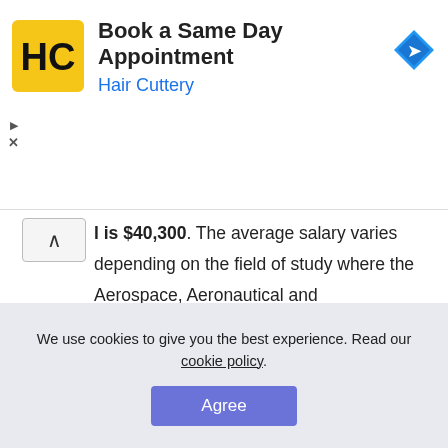[Figure (other): Hair Cuttery advertisement banner with logo, 'Book a Same Day Appointment' headline, and navigation icon]
l is $40,300. The average salary varies depending on the field of study where the Aerospace, Aeronautical and Astronautical/Space Engineering program shows the highest salary with $65,200 after graduating. Key academic stats for the school are listed in the next table.
We use cookies to give you the best experience. Read our cookie policy.